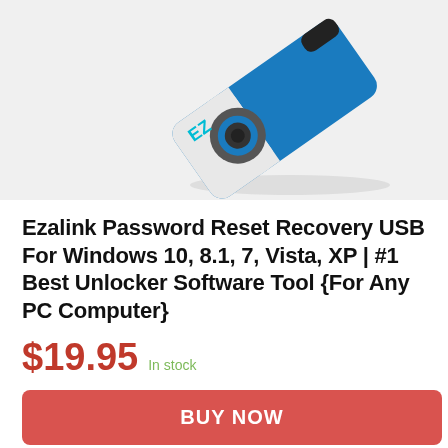[Figure (photo): A blue and white USB flash drive (Ezalink brand) photographed at an angle against a light background. The drive has a swivel cap design with a circular metallic connector visible.]
Ezalink Password Reset Recovery USB For Windows 10, 8.1, 7, Vista, XP | #1 Best Unlocker Software Tool {For Any PC Computer}
$19.95  In stock
BUY NOW
Amazon.com